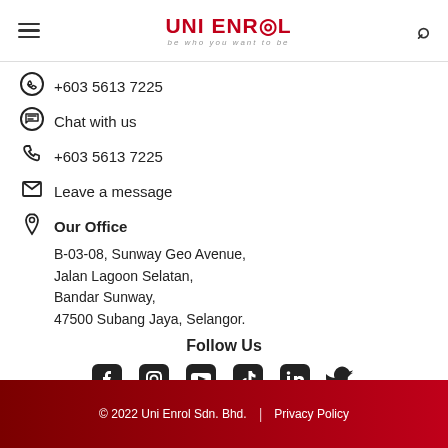UNI ENROL — be who you want to be
+603 5613 7225 (WhatsApp)
Chat with us
+603 5613 7225 (Phone)
Leave a message
Our Office
B-03-08, Sunway Geo Avenue,
Jalan Lagoon Selatan,
Bandar Sunway,
47500 Subang Jaya, Selangor.
Follow Us
[Figure (infographic): Social media icons: Facebook, Instagram, YouTube, TikTok, LinkedIn, Twitter]
© 2022 Uni Enrol Sdn. Bhd.  |  Privacy Policy